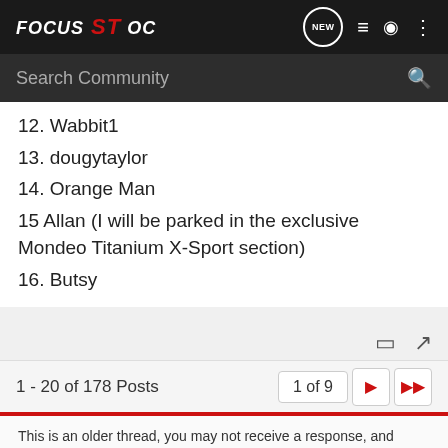FOCUS ST OC
12. Wabbit1
13. dougytaylor
14. Orange Man
15 Allan (I will be parked in the exclusive Mondeo Titanium X-Sport section)
16. Butsy
1 - 20 of 178 Posts
1 of 9
This is an older thread, you may not receive a response, and could be reviving an old thread. Please consider creating a new thread.